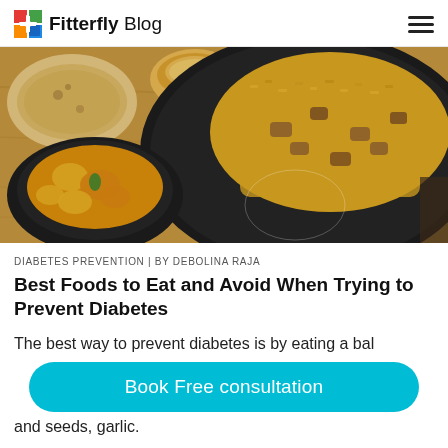Fitterfly Blog
[Figure (photo): Indian food spread showing a bowl of yellow curry, a plate of turmeric rice with meat pieces on a decorative black and white plate, flatbread, and a small bowl of sauce on a wooden table.]
DIABETES PREVENTION | BY DEBOLINA RAJA
Best Foods to Eat and Avoid When Trying to Prevent Diabetes
The best way to prevent diabetes is by eating a balanced diet with vegetables, whole grains, nuts and seeds, garlic.